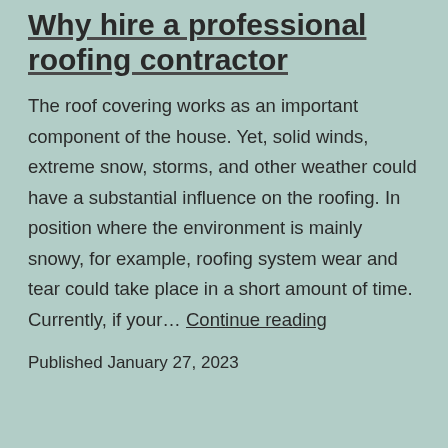Why hire a professional roofing contractor
The roof covering works as an important component of the house. Yet, solid winds, extreme snow, storms, and other weather could have a substantial influence on the roofing. In position where the environment is mainly snowy, for example, roofing system wear and tear could take place in a short amount of time. Currently, if your… Continue reading
Published January 27, 2023